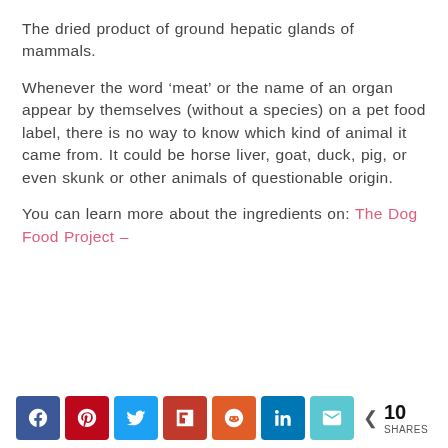The dried product of ground hepatic glands of mammals.
Whenever the word ‘meat’ or the name of an organ appear by themselves (without a species) on a pet food label, there is no way to know which kind of animal it came from. It could be horse liver, goat, duck, pig, or even skunk or other animals of questionable origin.
You can learn more about the ingredients on: The Dog Food Project –
[Figure (infographic): Social media share buttons: Facebook, Pinterest, Twitter, Flipboard, Reddit, LinkedIn, Email. Share count: 10 SHARES.]